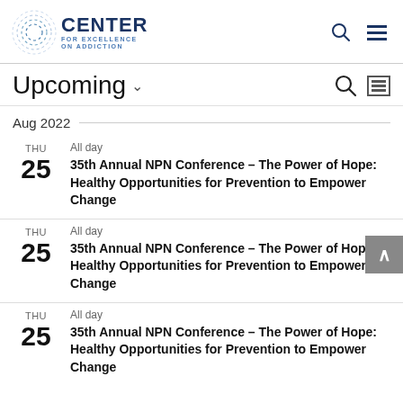CENTER FOR EXCELLENCE ON ADDICTION
Upcoming
Aug 2022
THU 25 - All day - 35th Annual NPN Conference – The Power of Hope: Healthy Opportunities for Prevention to Empower Change
THU 25 - All day - 35th Annual NPN Conference – The Power of Hope: Healthy Opportunities for Prevention to Empower Change
THU 25 - All day - 35th Annual NPN Conference – The Power of Hope: Healthy Opportunities for Prevention to Empower Change